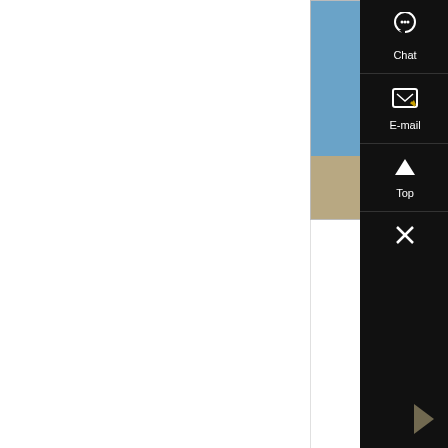[Figure (photo): Industrial paper bag making machine / factory equipment photographed outdoors against blue sky, showing large machinery with silos and conveyor structures]
Paper Grocery Bag Making Machine
Our Paper Grocery Bag Making Machine is used to manufacture paper bags and are corrosion resistant and have a high production capacity. Those